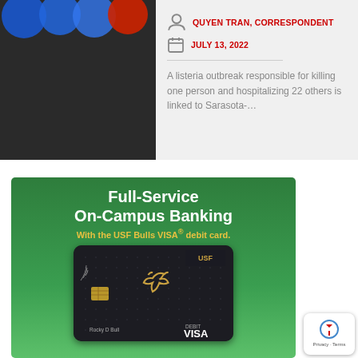[Figure (photo): Partial article card with a dark image on the left side showing blue and red circular graphics, set against a light gray background]
QUYEN TRAN, CORRESPONDENT
JULY 13, 2022
A listeria outbreak responsible for killing one person and hospitalizing 22 others is linked to Sarasota-…
[Figure (photo): Advertisement for USF Federal Credit Union Full-Service On-Campus Banking with the USF Bulls VISA debit card. Green background with white bold text reading Full-Service On-Campus Banking, yellow text reading With the USF Bulls VISA® debit card., and an image of a dark debit card featuring the USF bull logo, with Rocky D Bull as cardholder name and DEBIT VISA at bottom right.]
USF Federal Credit Union     Insured by NCUA